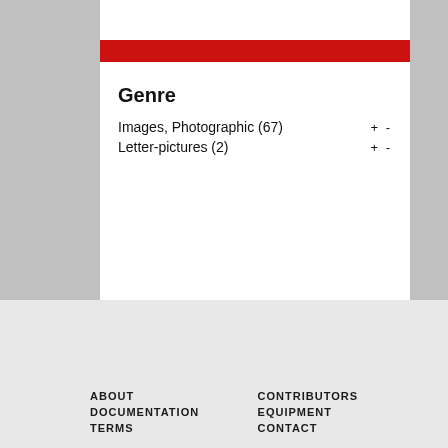Genre
Images, Photographic (67)  + -
Letter-pictures (2)  + -
ABOUT  DOCUMENTATION  TERMS  CONTRIBUTORS  EQUIPMENT  CONTACT